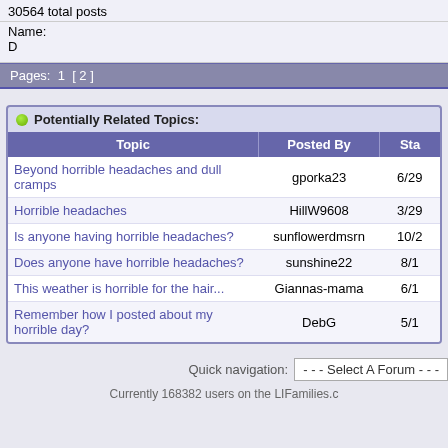30564 total posts
Name:
D
Pages:  1  [ 2 ]
Potentially Related Topics:
| Topic | Posted By | Sta |
| --- | --- | --- |
| Beyond horrible headaches and dull cramps | gporka23 | 6/2... |
| Horrible headaches | HillW9608 | 3/2... |
| Is anyone having horrible headaches? | sunflowerdmsrn | 10/2... |
| Does anyone have horrible headaches? | sunshine22 | 8/1... |
| This weather is horrible for the hair... | Giannas-mama | 6/1... |
| Remember how I posted about my horrible day? | DebG | 5/1... |
Quick navigation:  - - - Select A Forum - - -
Currently 168382 users on the LIFamilies.c...